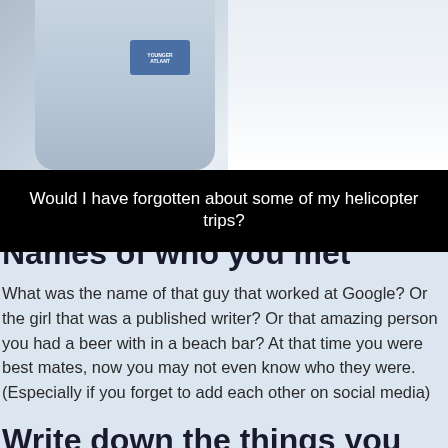[Figure (photo): Photo of a person in a light blue jacket or shirt with a logo, appearing to be outdoors in a snowy environment. Image is partially cropped.]
Would I have forgotten about some of my helicopter trips?
Names of who you met
What was the name of that guy that worked at Google? Or the girl that was a published writer? Or that amazing person you had a beer with in a beach bar? At that time you were best mates, now you may not even know who they were. (Especially if you forget to add each other on social media)
Write down the things you learn
Everyone travels for a different reason but one of my favourites